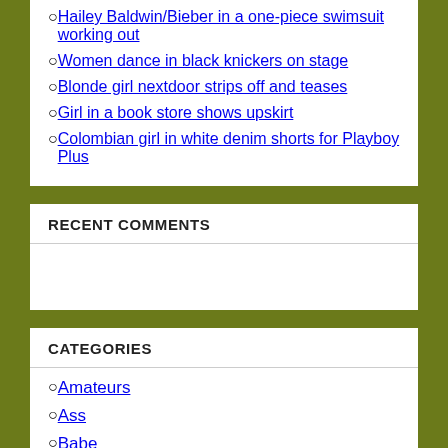Hailey Baldwin/Bieber in a one-piece swimsuit working out
Women dance in black knickers on stage
Blonde girl nextdoor strips off and teases
Girl in a book store shows upskirt
Colombian girl in white denim shorts for Playboy Plus
RECENT COMMENTS
CATEGORIES
Amateurs
Ass
Babe
Bailey Knox